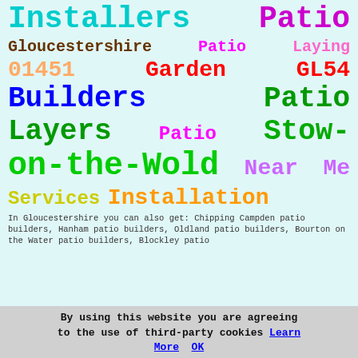Installers  Patio
Gloucestershire  Patio  Laying
01451  Garden  GL54
Builders  Patio
Layers  Patio  Stow-
on-the-Wold  Near  Me
Services  Installation
In Gloucestershire you can also get: Chipping Campden patio builders, Hanham patio builders, Oldland patio builders, Bourton on the Water patio builders, Blockley patio
By using this website you are agreeing to the use of third-party cookies Learn More  OK